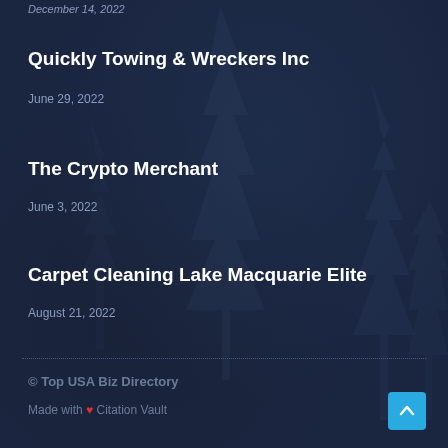December 14, 2022
Quickly Towing & Wreckers Inc
June 29, 2022
The Crypto Merchant
June 3, 2022
Carpet Cleaning Lake Macquarie Elite
August 21, 2022
© Top USA Biz Directory
Made with ❤ Citation Vault